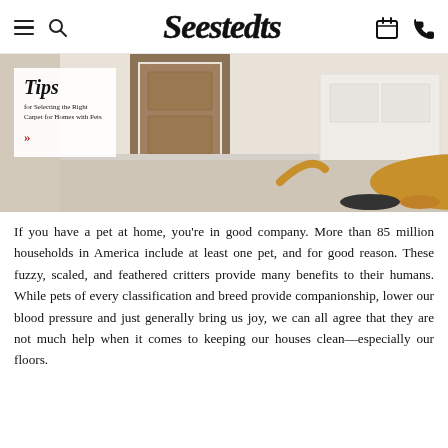Seestedts — navigation header with hamburger menu, search icon, logo, calendar icon, phone icon
[Figure (photo): Banner image showing a golden retriever dog lying on light carpet near a doorway, with an overlay card reading 'Tips for Selecting the Right Carpet for Homes with Pets' with a red double-chevron arrow.]
If you have a pet at home, you're in good company. More than 85 million households in America include at least one pet, and for good reason. These fuzzy, scaled, and feathered critters provide many benefits to their humans. While pets of every classification and breed provide companionship, lower our blood pressure and just generally bring us joy, we can all agree that they are not much help when it comes to keeping our houses clean—especially our floors.